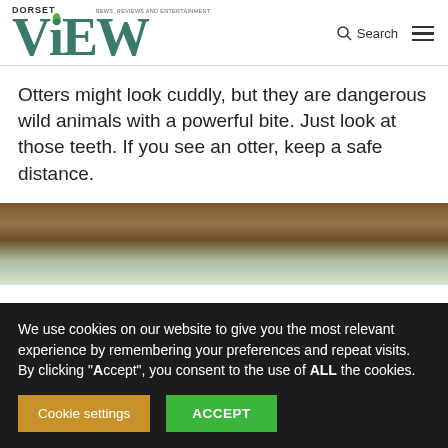DORSET VIEW — NEWS, REVIEWS AND ENTERTAINMENT
Otters might look cuddly, but they are dangerous wild animals with a powerful bite. Just look at those teeth. If you see an otter, keep a safe distance.
[Figure (photo): Close-up photo of water and muddy/rocky bank, likely showing an otter or otter habitat near a stream.]
We use cookies on our website to give you the most relevant experience by remembering your preferences and repeat visits. By clicking "Accept", you consent to the use of ALL the cookies.